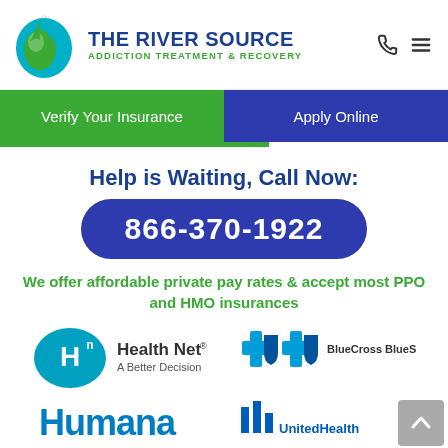[Figure (logo): The River Source Addiction Treatment & Recovery logo with teal/green flame droplet icon]
[Figure (infographic): Navigation bar with green 'Verify Your Insurance' button and blue 'Apply Online' button]
Help is Waiting, Call Now:
866-370-1922
We offer affordable private pay rates & accept most PPO and HMO insurances
[Figure (logo): Health Net - A Better Decision logo]
[Figure (logo): BlueCross BlueShield logo]
[Figure (logo): Humana logo (partially visible)]
[Figure (logo): UnitedHealthcare logo (partially visible)]